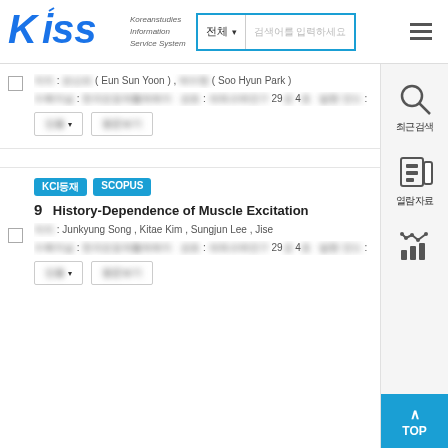[Figure (logo): KISS - Koreanstudies Information Service System logo]
저자 : 은선희(Eun Sun Yoon), 박수현(Soo Hyun Park)
수록저널 : 한국운동재활학회지 | 권호 : 체육과학연구 29권 4호 | 발행 연도 : 2020
KCI등재 SCOPUS
9 History-Dependence of Muscle Excitation
저자 : Junkyung Song , Kitae Kim , Sungjun Lee , Jise
수록저널 : 한국운동재활학회지 | 권호 : 체육과학연구 29권 4호 | 발행 연도 : 2020
최근검색
열람자료
TOP